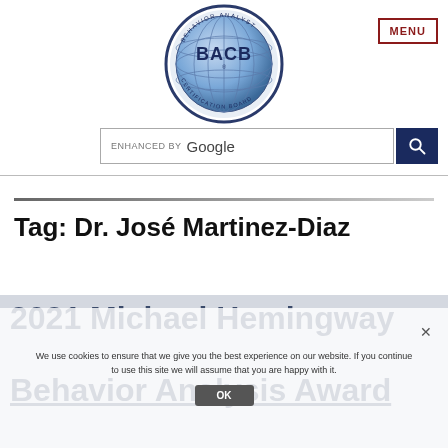[Figure (logo): BACB Behavior Analyst Certification Board circular logo with globe graphic]
MENU
ENHANCED BY Google [search bar]
Tag: Dr. José Martinez-Diaz
2021 Michael Hemingway Behavior Analysis Award
We use cookies to ensure that we give you the best experience on our website. If you continue to use this site we will assume that you are happy with it.
OK